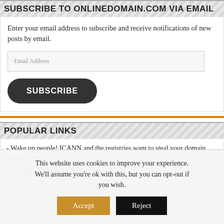SUBSCRIBE TO ONLINEDOMAIN.COM VIA EMAIL
Enter your email address to subscribe and receive notifications of new posts by email.
Email Address
SUBSCRIBE
POPULAR LINKS
- Wake up people! ICANN and the registries want to steal your domain names!
- New gTLD Sales By Sold.Domains
This website uses cookies to improve your experience. We'll assume you're ok with this, but you can opt-out if you wish.